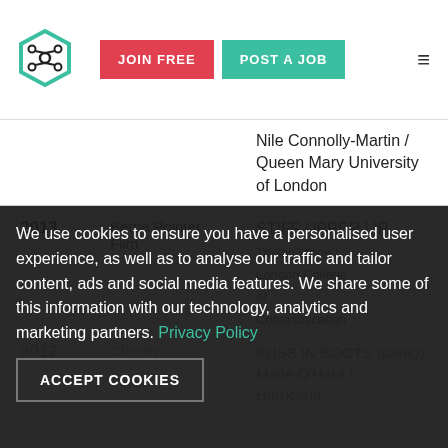[Figure (logo): Hexagonal logo icon with network/molecule design]
JOIN FREE
POST A JOB
| Year | Role | Title / Director / Company |
| --- | --- | --- |
|  |  | Nile Connolly-Martin / Queen Mary University of London |
| 2013 | Bertie Pointer
Film | STIFF UPPER LIP
Tristan Vince / London College of Communication |
| 2012 | Cheeky Charlie
Assistant Director | PUSS IN BOOTS (panto)
Marie O'Hara / Hurricane |
We use cookies to ensure you have a personalised user experience, as well as to analyse our traffic and tailor content, ads and social media features. We share some of this information with our technology, analytics and marketing partners. Privacy Policy
ACCEPT COOKIES